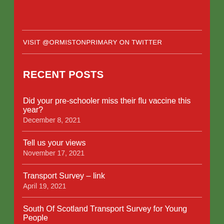VISIT @ORMISTONPRIMARY ON TWITTER
RECENT POSTS
Did your pre-schooler miss their flu vaccine this year?
December 8, 2021
Tell us your views
November 17, 2021
Transport Survey – link
April 19, 2021
South Of Scotland Transport Survey for Young People
April 19, 2021
Leadership Appointments
December 9, 2019